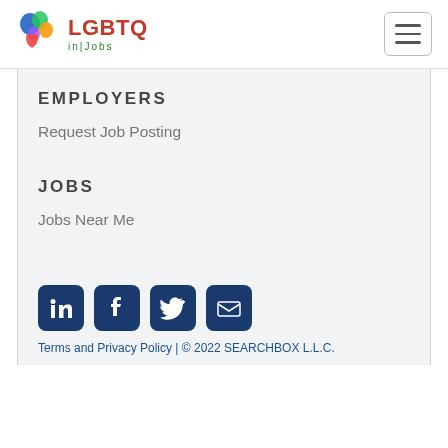[Figure (logo): LGBTQ in Jobs logo with colorful splash and red/green text]
EMPLOYERS
Request Job Posting
JOBS
Jobs Near Me
[Figure (infographic): Row of social media icons: LinkedIn, Facebook, Twitter, Email]
Terms and Privacy Policy | © 2022 SEARCHBOX L.L.C.